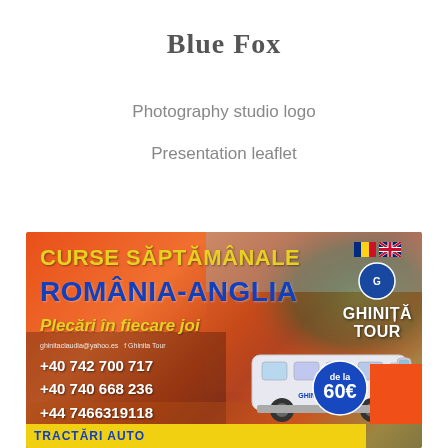Blue Fox
Photography studio logo
Presentation leaflet
[Figure (photo): Ghinita Tour promotional leaflet advertising weekly Romania-England bus routes, with phone numbers, website, bus image, and pricing starting from 60 euros.]